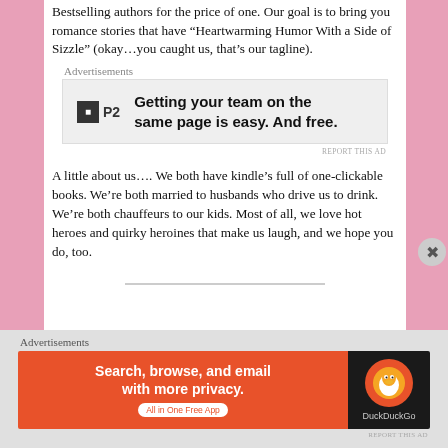Bestselling authors for the price of one. Our goal is to bring you romance stories that have “Heartwarming Humor With a Side of Sizzle” (okay…you caught us, that’s our tagline).
Advertisements
[Figure (screenshot): P2 advertisement: Getting your team on the same page is easy. And free.]
REPORT THIS AD
A little about us…. We both have kindle’s full of one-clickable books. We’re both married to husbands who drive us to drink. We’re both chauffeurs to our kids. Most of all, we love hot heroes and quirky heroines that make us laugh, and we hope you do, too.
Advertisements
[Figure (screenshot): DuckDuckGo advertisement: Search, browse, and email with more privacy. All in One Free App.]